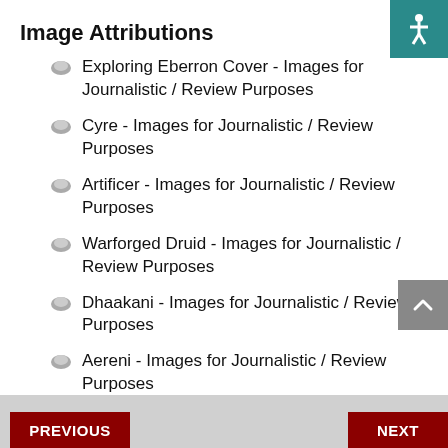Image Attributions
Exploring Eberron Cover - Images for Journalistic / Review Purposes
Cyre - Images for Journalistic / Review Purposes
Artificer - Images for Journalistic / Review Purposes
Warforged Druid - Images for Journalistic / Review Purposes
Dhaakani - Images for Journalistic / Review Purposes
Aereni - Images for Journalistic / Review Purposes
PREVIOUS   NEXT